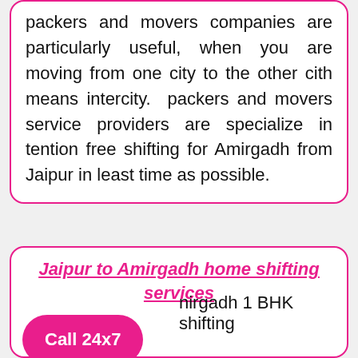packers and movers companies are particularly useful, when you are moving from one city to the other cith means intercity. packers and movers service providers are specialize in tention free shifting for Amirgadh from Jaipur in least time as possible.
Jaipur to Amirgadh home shifting services
Call 24x7
nirgadh 1 BHK shifting